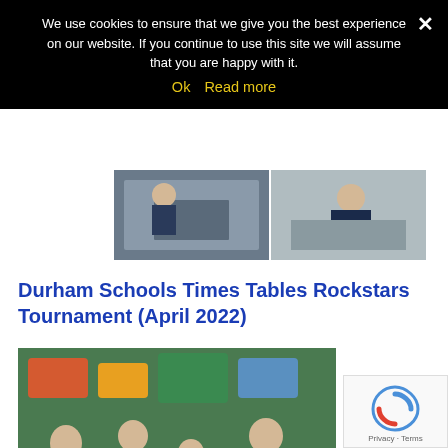We use cookies to ensure that we give you the best experience on our website. If you continue to use this site we will assume that you are happy with it.
Ok  Read more
[Figure (photo): Two side-by-side photos of students working at laptops]
Durham Schools Times Tables Rockstars Tournament (April 2022)
[Figure (photo): Four children holding award plaques standing in front of a green classroom display board]